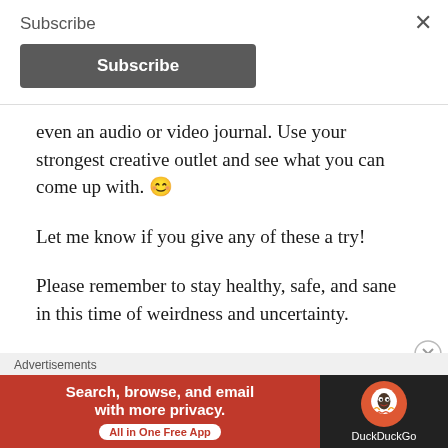Subscribe
even an audio or video journal. Use your strongest creative outlet and see what you can come up with. 😊
Let me know if you give any of these a try!
Please remember to stay healthy, safe, and sane in this time of weirdness and uncertainty.
Until next time,
Carry on wifeys & gents!
Advertisements
[Figure (screenshot): DuckDuckGo advertisement banner: orange/red left side with text 'Search, browse, and email with more privacy. All in One Free App' and dark right side with DuckDuckGo logo and name.]